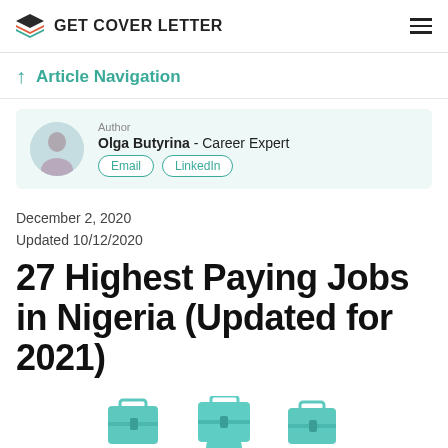GET COVER LETTER
Article Navigation
Author
Olga Butyrina - Career Expert
December 2, 2020
Updated 10/12/2020
27 Highest Paying Jobs in Nigeria (Updated for 2021)
[Figure (illustration): Three teal/green briefcase icons partially visible at the bottom of the page, part of an article header illustration]